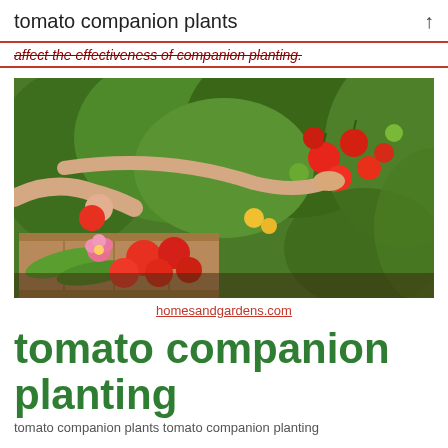tomato companion plants ↑
affect the effectiveness of companion planting.
[Figure (photo): Person harvesting red tomatoes from a lush garden vine, with a wooden crate filled with tomatoes, zucchini, and flowers in the foreground.]
homesandgardens.com
tomato companion planting
tomato companion plants tomato companion planting